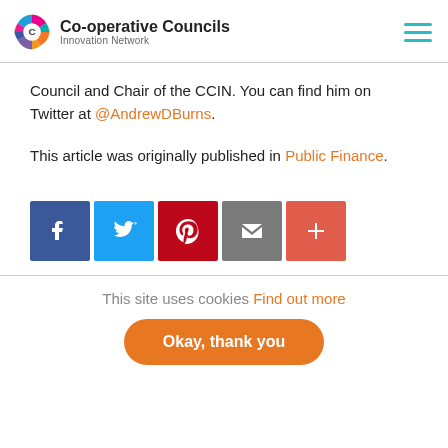Co-operative Councils Innovation Network
Council and Chair of the CCIN. You can find him on Twitter at @AndrewDBurns.
This article was originally published in Public Finance.
[Figure (infographic): Social sharing buttons: Facebook, Twitter, Pinterest, Email, More]
This site uses cookies Find out more Okay, thank you